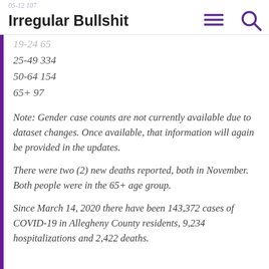Irregular Bullshit
05-12 107
19-24 65
25-49 334
50-64 154
65+ 97
Note: Gender case counts are not currently available due to dataset changes. Once available, that information will again be provided in the updates.
There were two (2) new deaths reported, both in November. Both people were in the 65+ age group.
Since March 14, 2020 there have been 143,372 cases of COVID-19 in Allegheny County residents, 9,234 hospitalizations and 2,422 deaths.